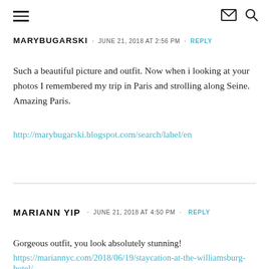Navigation header with hamburger menu, email icon, and search icon
MARYBUGARSKI · JUNE 21, 2018 AT 2:56 PM · REPLY
Such a beautiful picture and outfit. Now when i looking at your photos I remembered my trip in Paris and strolling along Seine. Amazing Paris.
http://marybugarski.blogspot.com/search/label/en
MARIANN YIP · JUNE 21, 2018 AT 4:50 PM · REPLY
Gorgeous outfit, you look absolutely stunning!
https://mariannyc.com/2018/06/19/staycation-at-the-williamsburg-hotel/